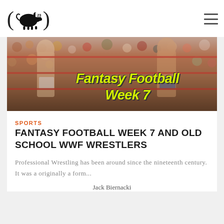Logo: pig icon with number 23
[Figure (photo): Hero image of WWF wrestlers in a wrestling ring with crowd in background. Yellow bold italic text overlay reads 'Fantasy Football Week 7']
SPORTS
FANTASY FOOTBALL WEEK 7 AND OLD SCHOOL WWF WRESTLERS
Professional Wrestling has been around since the nineteenth century. It was a originally a form...
Jack Biernacki